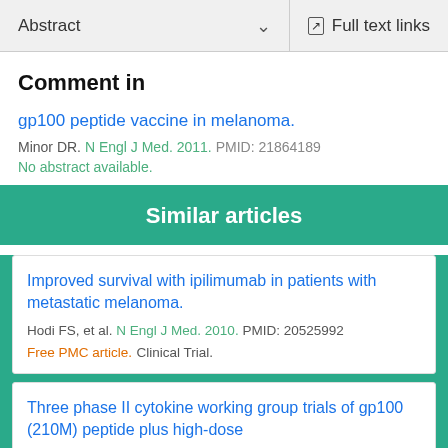Abstract  ∨  Full text links
Comment in
gp100 peptide vaccine in melanoma.
Minor DR. N Engl J Med. 2011. PMID: 21864189
No abstract available.
Similar articles
Improved survival with ipilimumab in patients with metastatic melanoma.
Hodi FS, et al. N Engl J Med. 2010. PMID: 20525992
Free PMC article. Clinical Trial.
Three phase II cytokine working group trials of gp100 (210M) peptide plus high-dose